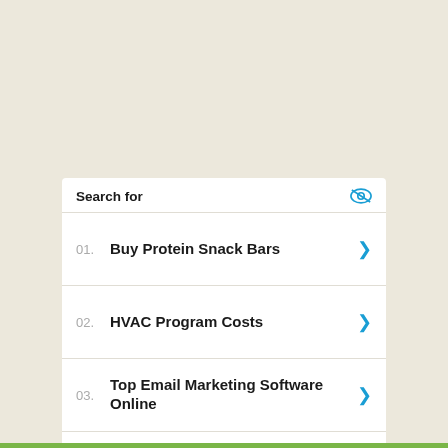Search for
01. Buy Protein Snack Bars
02. HVAC Program Costs
03. Top Email Marketing Software Online
04. Find Cloud Based Data Backup Solutions
05. Digital Employee Engagements
Yahoo! Search | Sponsored